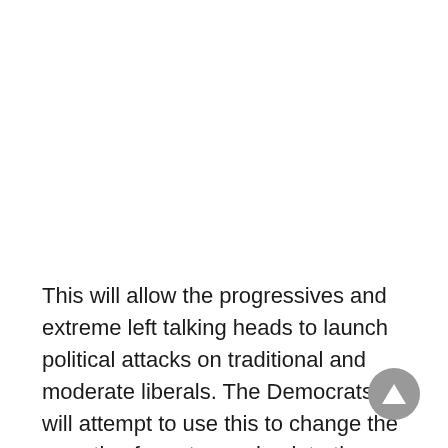This will allow the progressives and extreme left talking heads to launch political attacks on traditional and moderate liberals. The Democrats will attempt to use this to change the narrative for voters going into the midterms. And it will exacerbate an already divisive climate in our country.